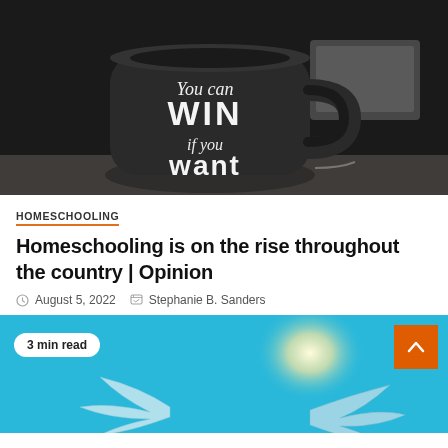[Figure (photo): A black matte coffee mug with white handwritten text reading 'You can WIN if you want' against a dark background]
HOMESCHOOLING
Homeschooling is on the rise throughout the country | Opinion
August 5, 2022   Stephanie B. Sanders
[Figure (photo): A blue background with illustrated white bird/angel wings and a glowing orb, with a '3 min read' badge and orange scroll-to-top button]